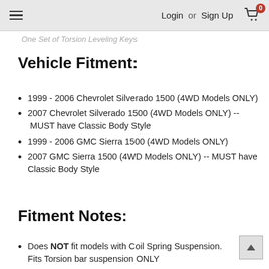Login or Sign Up  [cart: 0]
One Set of Torsion Leveling Keys
Vehicle Fitment:
1999 - 2006 Chevrolet Silverado 1500 (4WD Models ONLY)
2007 Chevrolet Silverado 1500 (4WD Models ONLY) -- MUST have Classic Body Style
1999 - 2006 GMC Sierra 1500 (4WD Models ONLY)
2007 GMC Sierra 1500 (4WD Models ONLY) -- MUST have Classic Body Style
Fitment Notes:
Does NOT fit models with Coil Spring Suspension. Fits Torsion bar suspension ONLY
Will fit 2WD models With Torsion bar front suspension